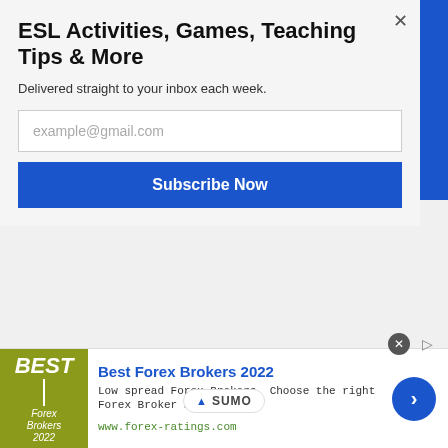ESL Activities, Games, Teaching Tips & More
Delivered straight to your inbox each week.
example@gmail.com
Subscribe Now
already know this, but it's good for them to have it fresh in their heads.
[Figure (logo): SUMO badge with crown icon]
[Figure (infographic): Best Forex Brokers 2022 advertisement banner with olive/yellow-green logo, ad text, URL and blue arrow button]